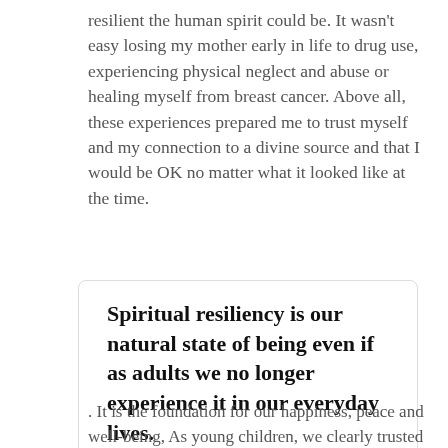resilient the human spirit could be. It wasn't easy losing my mother early in life to drug use, experiencing physical neglect and abuse or healing myself from breast cancer. Above all, these experiences prepared me to trust myself and my connection to a divine source and that I would be OK no matter what it looked like at the time.
Spiritual resiliency is our natural state of being even if as adults we no longer experience it in our everyday lives. CLICK TO TWEET
. It is the foundation for our happiness, peace and well-being, As young children, we clearly trusted this ability,